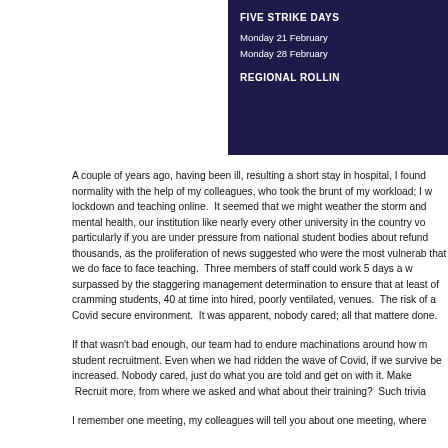[Figure (other): Dark navy banner (partially visible, cropped at right edge) showing strike action information: 'FIVE STRIKE DAYS', 'Monday 21 February', 'Monday 28 February', 'REGIONAL ROLLIN...']
A couple of years ago, having been ill, resulting a short stay in hospital, I found normality with the help of my colleagues, who took the brunt of my workload; I w lockdown and teaching online.  It seemed that we might weather the storm and mental health, our institution like nearly every other university in the country vo particularly if you are under pressure from national student bodies about refund thousands, as the proliferation of news suggested who were the most vulnerab that we do face to face teaching.  Three members of staff could work 5 days a w surpassed by the staggering management determination to ensure that at least of cramming students, 40 at time into hired, poorly ventilated, venues.  The risk of a Covid secure environment.  It was apparent, nobody cared; all that mattere done.
If that wasn't bad enough, our team had to endure machinations around how m student recruitment. Even when we had ridden the wave of Covid, if we survive be increased. Nobody cared, just do what you are told and get on with it. Make  Recruit more, from where we asked and what about their training?  Such trivia
I remember one meeting, my colleagues will tell you about one meeting, where